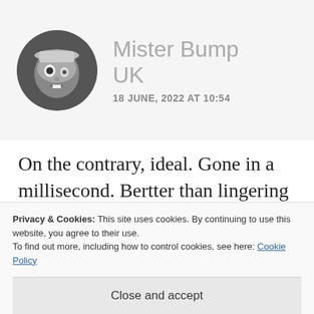[Figure (photo): Circular avatar photo of a sculptural or carved figure resembling Mr. Bump, black and white image]
Mister Bump UK
18 JUNE, 2022 AT 10:54
On the contrary, ideal. Gone in a millisecond. Bertter than lingering twenty years.
Yes in reality there’d not really be
Privacy & Cookies: This site uses cookies. By continuing to use this website, you agree to their use.
To find out more, including how to control cookies, see here: Cookie Policy
Close and accept
him, because presumably the wind